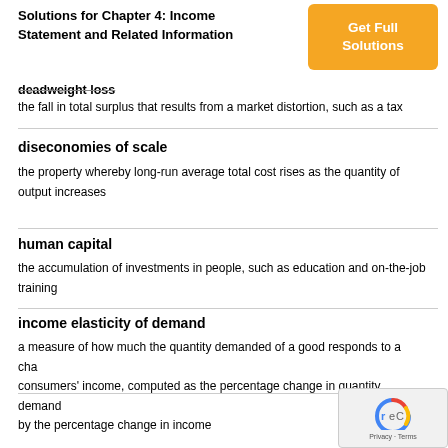Solutions for Chapter 4: Income Statement and Related Information
[Figure (other): Orange button with white bold text reading 'Get Full Solutions']
deadweight loss
the fall in total surplus that results from a market distortion, such as a tax
diseconomies of scale
the property whereby long-run average total cost rises as the quantity of output increases
human capital
the accumulation of investments in people, such as education and on-the-job training
income elasticity of demand
a measure of how much the quantity demanded of a good responds to a change in consumers' income, computed as the percentage change in quantity demanded divided by the percentage change in income